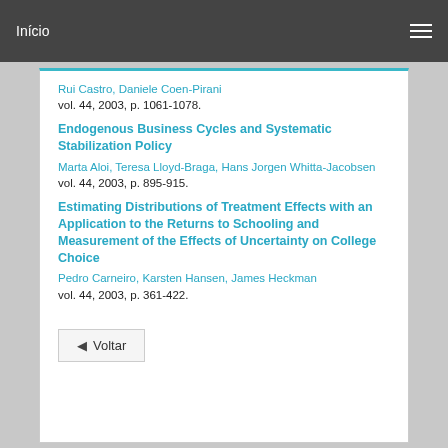Início
Rui Castro, Daniele Coen-Pirani
vol. 44, 2003, p. 1061-1078.
Endogenous Business Cycles and Systematic Stabilization Policy
Marta Aloi, Teresa Lloyd-Braga, Hans Jorgen Whitta-Jacobsen
vol. 44, 2003, p. 895-915.
Estimating Distributions of Treatment Effects with an Application to the Returns to Schooling and Measurement of the Effects of Uncertainty on College Choice
Pedro Carneiro, Karsten Hansen, James Heckman
vol. 44, 2003, p. 361-422.